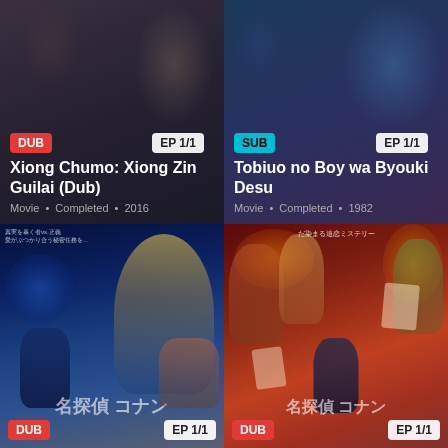[Figure (screenshot): Anime movie card - Xiong Chumo: Xiong Zin Guilai (Dub), with DUB badge in red and EP 1/1 badge, Movie, Completed, 2016]
[Figure (screenshot): Anime movie card - Tobiuo no Boy wa Byouki Desu, with SUB badge in cyan and EP 1/1 badge, Movie, Completed, 1982]
[Figure (screenshot): Detective Conan anime movie poster - bottom left card with DUB badge and EP 1/1 badge]
[Figure (screenshot): Detective Conan anime movie poster - bottom right card with DUB badge and EP 1/1 badge]